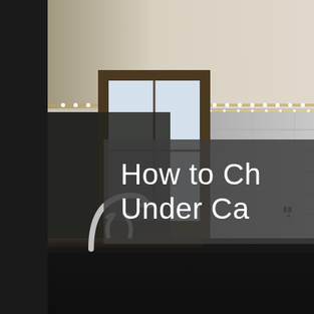[Figure (photo): Kitchen interior with under-cabinet LED strip lighting installed along the top of white subway tile backsplash. A chrome faucet and sink are visible in the lower left. A window with wooden frame shows daylight. The granite countertop is visible. The scene is dimly lit with the under-cabinet lights being a prominent feature.]
How to Ch... Under Ca...